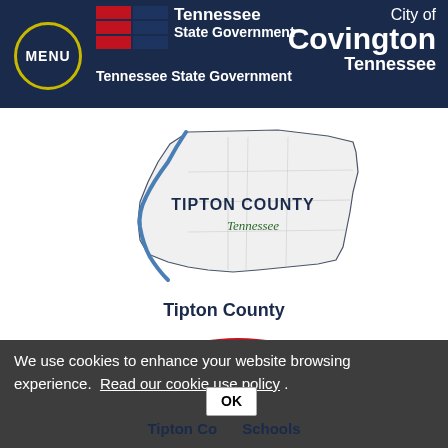MENU | Tennessee State Government | City of Covington Tennessee
[Figure (map): Tipton County Tennessee outline map with blue river and road network]
Tipton County
[Figure (illustration): Tipton County seal/logo with red and blue colors and star design with TIPTON text]
Tipton Co Schools
We use cookies to enhance your website browsing experience. Read our cookie use policy . OK